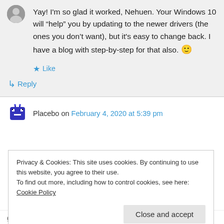Yay! I'm so glad it worked, Nehuen. Your Windows 10 will “help” you by updating to the newer drivers (the ones you don’t want), but it's easy to change back. I have a blog with step-by-step for that also. 🙂
Like
Reply
Placebo on February 4, 2020 at 5:39 pm
Privacy & Cookies: This site uses cookies. By continuing to use this website, you agree to their use.
To find out more, including how to control cookies, see here: Cookie Policy
Close and accept
great memories again:=)